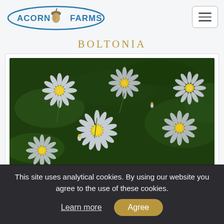Acorn Farms
BOLTONIA
[Figure (photo): Close-up photograph of Boltonia flowers — white daisy-like petals with yellow centers, growing in a dense cluster against dark green foliage]
This site uses analytical cookies. By using our website you agree to the use of these cookies. Learn more  Agree